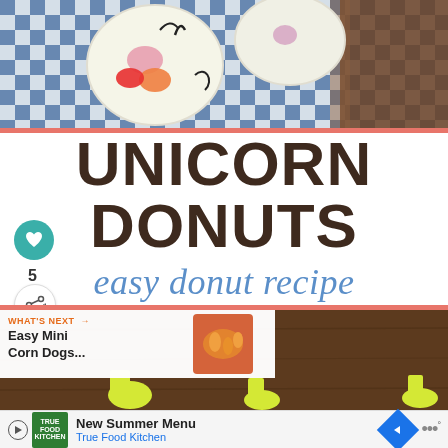[Figure (photo): Overhead view of unicorn-decorated donuts on a blue and white checkered cloth on a wooden surface]
UNICORN DONUTS easy donut recipe
[Figure (photo): Person wearing yellow shoes standing on a dark wooden floor]
WHAT'S NEXT → Easy Mini Corn Dogs...
New Summer Menu True Food Kitchen